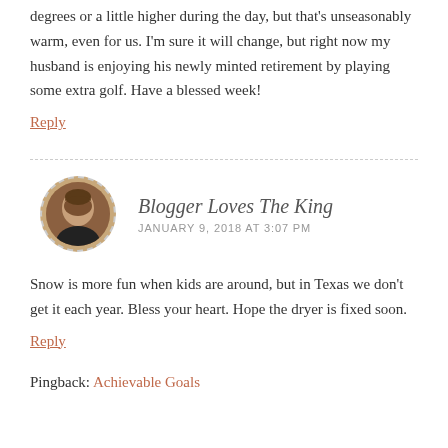degrees or a little higher during the day, but that's unseasonably warm, even for us. I'm sure it will change, but right now my husband is enjoying his newly minted retirement by playing some extra golf. Have a blessed week!
Reply
Blogger Loves The King
JANUARY 9, 2018 AT 3:07 PM
Snow is more fun when kids are around, but in Texas we don't get it each year. Bless your heart. Hope the dryer is fixed soon.
Reply
Pingback: Achievable Goals